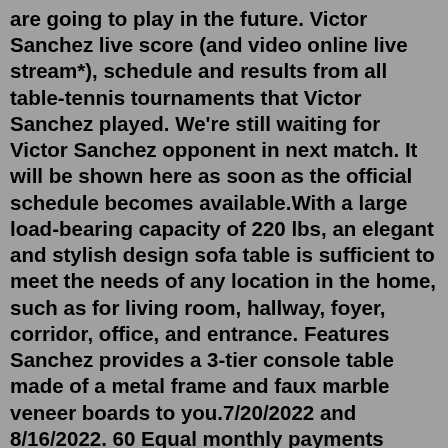are going to play in the future. Victor Sanchez live score (and video online live stream*), schedule and results from all table-tennis tournaments that Victor Sanchez played. We're still waiting for Victor Sanchez opponent in next match. It will be shown here as soon as the official schedule becomes available.With a large load-bearing capacity of 220 lbs, an elegant and stylish design sofa table is sufficient to meet the needs of any location in the home, such as for living room, hallway, foyer, corridor, office, and entrance. Features Sanchez provides a 3-tier console table made of a metal frame and faux marble veneer boards to you.7/20/2022 and 8/16/2022. 60 Equal monthly payments required. The Sanchez Collection is made from butter-soft top grain leather everywhere the body and available to special order in another 35 leather colors. Just push a button and automatically recline to any position. Then push another button and adjust your head to the perfect position. Maria Sanchez previous match was against Liang E /